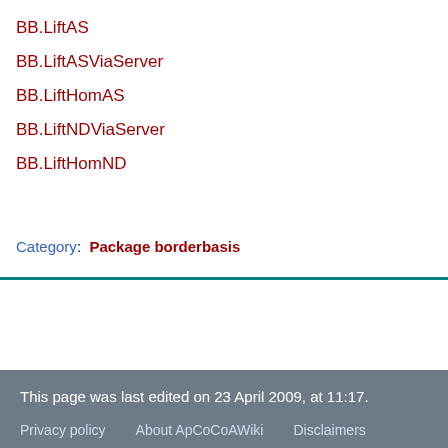BB.LiftAS
BB.LiftASViaServer
BB.LiftHomAS
BB.LiftNDViaServer
BB.LiftHomND
Category:  Package borderbasis
This page was last edited on 23 April 2009, at 11:17.
Privacy policy    About ApCoCoAWiki    Disclaimers